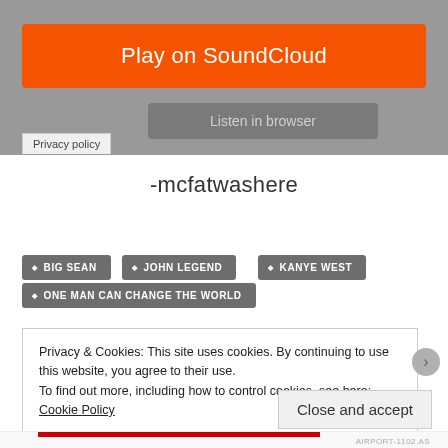[Figure (screenshot): SoundCloud embedded player banner with orange 'Play on SoundCloud' button and grey 'Listen in browser' button on a grey background, with a 'Privacy policy' tab at bottom left]
-mcfatwashere
BIG SEAN
JOHN LEGEND
KANYE WEST
ONE MAN CAN CHANGE THE WORLD
Privacy & Cookies: This site uses cookies. By continuing to use this website, you agree to their use. To find out more, including how to control cookies, see here: Cookie Policy
Close and accept